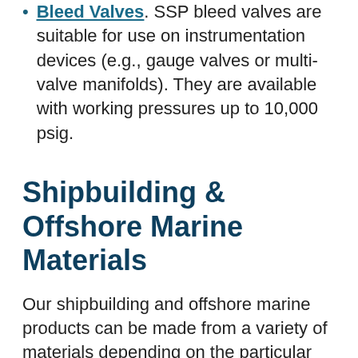Bleed Valves. SSP bleed valves are suitable for use on instrumentation devices (e.g., gauge valves or multi-valve manifolds). They are available with working pressures up to 10,000 psig.
Shipbuilding & Offshore Marine Materials
Our shipbuilding and offshore marine products can be made from a variety of materials depending on the particular requirements and restrictions of the intended application. We offer options for standard and specialty alloys.